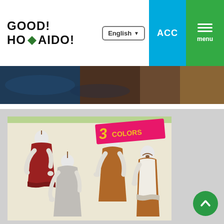GOOD! HOKKAID O!
English
ACC
menu
[Figure (photo): Hero banner image strip showing dark blue and brown tones, appears to be an outdoor or product scene]
[Figure (photo): Product image showing three headless mannequins displaying halter-neck dresses in three colors: red/burgundy, gray/light, and brown/caramel. A pink banner reads '3 COLORS' with decorative border at top.]